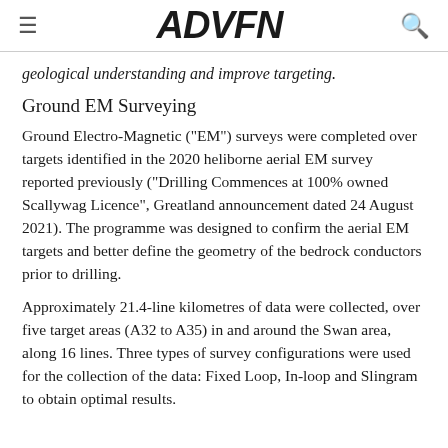ADVFN
geological understanding and improve targeting.
Ground EM Surveying
Ground Electro-Magnetic ("EM") surveys were completed over targets identified in the 2020 heliborne aerial EM survey reported previously ("Drilling Commences at 100% owned Scallywag Licence", Greatland announcement dated 24 August 2021). The programme was designed to confirm the aerial EM targets and better define the geometry of the bedrock conductors prior to drilling.
Approximately 21.4-line kilometres of data were collected, over five target areas (A32 to A35) in and around the Swan area, along 16 lines. Three types of survey configurations were used for the collection of the data: Fixed Loop, In-loop and Slingram to obtain optimal results.